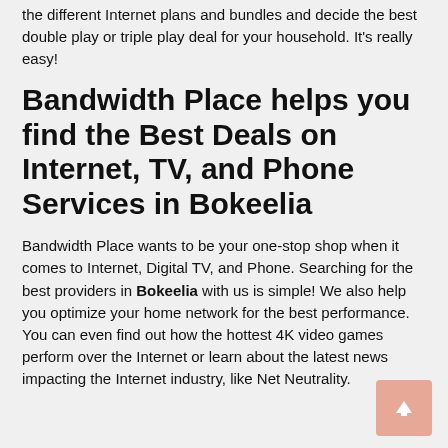the different Internet plans and bundles and decide the best double play or triple play deal for your household. It’s really easy!
Bandwidth Place helps you find the Best Deals on Internet, TV, and Phone Services in Bokeelia
Bandwidth Place wants to be your one-stop shop when it comes to Internet, Digital TV, and Phone. Searching for the best providers in Bokeelia with us is simple! We also help you optimize your home network for the best performance. You can even find out how the hottest 4K video games perform over the Internet or learn about the latest news impacting the Internet industry, like Net Neutrality.